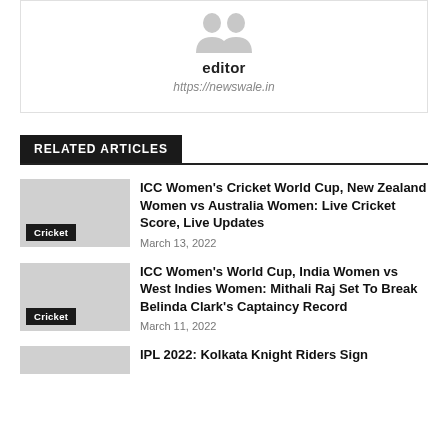[Figure (illustration): Editor avatar placeholder with two silhouette figures on white background]
editor
https://newswale.in
RELATED ARTICLES
[Figure (photo): Thumbnail image placeholder for ICC Women's Cricket World Cup article, with Cricket category tag]
ICC Women's Cricket World Cup, New Zealand Women vs Australia Women: Live Cricket Score, Live Updates
March 13, 2022
[Figure (photo): Thumbnail image placeholder for ICC Women's World Cup India vs West Indies article, with Cricket category tag]
ICC Women's World Cup, India Women vs West Indies Women: Mithali Raj Set To Break Belinda Clark's Captaincy Record
March 11, 2022
IPL 2022: Kolkata Knight Riders Sign